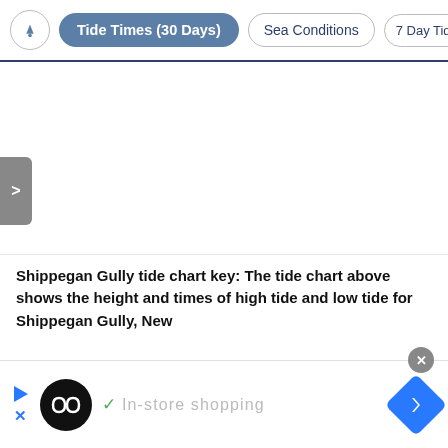Tide Times (30 Days) | Sea Conditions | 7 Day Tide Tab
[Figure (other): Gray sidebar toggle button with '>' arrow on left edge]
Shippegan Gully tide chart key: The tide chart above shows the height and times of high tide and low tide for Shippegan Gully, New
[Figure (other): Advertisement banner with Loops logo, play/close buttons, checkmark, 'In-store shopping' text, and blue navigation arrow]